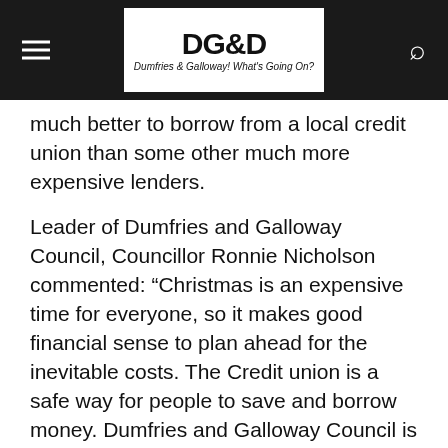Dumfries & Galloway! What's Going On?
much better to borrow from a local credit union than some other much more expensive lenders.
Leader of Dumfries and Galloway Council, Councillor Ronnie Nicholson commented: “Christmas is an expensive time for everyone, so it makes good financial sense to plan ahead for the inevitable costs. The Credit union is a safe way for people to save and borrow money. Dumfries and Galloway Council is committed to tackling the cause and effects of poverty in all its forms.
Colin Smyth , Chair of the Council’s Welfare reform Committee said, “Through the Council’s Welfare